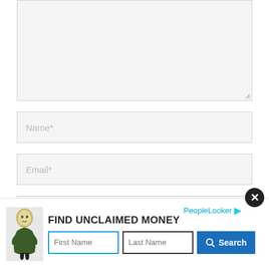[Figure (screenshot): A web comment form with a large textarea (empty, light gray background with resize handle), followed by Name*, Email*, and Website input fields. A checkbox row is partially visible at the bottom. An advertisement overlay covers the lower portion: 'FIND UNCLAIMED MONEY' with First Name and Last Name input fields and a blue Search button, plus a PeopleLooker brand label and close button.]